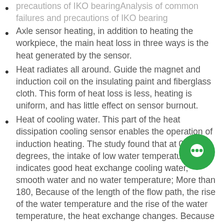precautions of IKO bearingAnalysis of common failures and precautions of IKO bearing
Axle sensor heating, in addition to heating the workpiece, the main heat loss in three ways is the heat generated by the sensor.
Heat radiates all around. Guide the magnet and induction coil on the insulating paint and fiberglass cloth. This form of heat loss is less, heating is uniform, and has little effect on sensor burnout.
Heat of cooling water. This part of the heat dissipation cooling sensor enables the operation of induction heating. The study found that at 0-180 degrees, the intake of low water temperature indicates good heat exchange cooling water, smooth water and no water temperature; More than 180, Because of the length of the flow path, the rise of the water temperature and the rise of the water temperature, the heat exchange changes. Because the sensor can easily lead to the temperature rise of a station (such as 225. About the part), this is the main
[Figure (illustration): Green circular chat/message icon with a white speech bubble symbol]